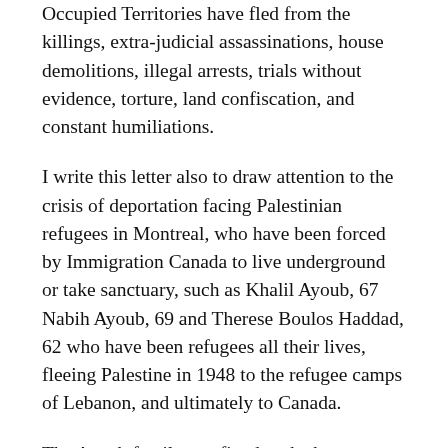Occupied Territories have fled from the killings, extra-judicial assassinations, house demolitions, illegal arrests, trials without evidence, torture, land confiscation, and constant humiliations.
I write this letter also to draw attention to the crisis of deportation facing Palestinian refugees in Montreal, who have been forced by Immigration Canada to live underground or take sanctuary, such as Khalil Ayoub, 67 Nabih Ayoub, 69 and Therese Boulos Haddad, 62 who have been refugees all their lives, fleeing Palestine in 1948 to the refugee camps of Lebanon, and ultimately to Canada.
The Ayoub family, confined to the basement of Notre-Dame de Grace Church, were forced to take sanctuary over 10 months ago to escape deportation. The Ayoub family now is set to spend their first Christmas in sanctuary in Montreal, as their struggle against deportation and for their status continues.